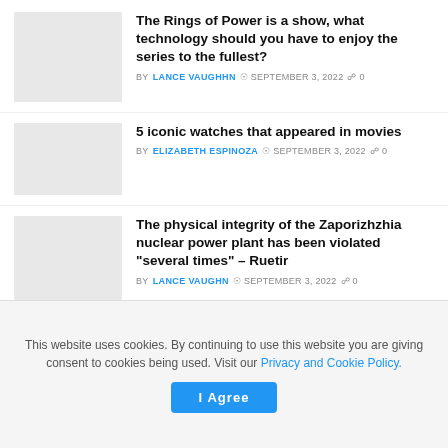The Rings of Power is a show, what technology should you have to enjoy the series to the fullest? BY LANCE VAUGHN  SEPTEMBER 3, 2022  0
5 iconic watches that appeared in movies BY ELIZABETH ESPINOZA  SEPTEMBER 3, 2022  0
The physical integrity of the Zaporizhzhia nuclear power plant has been violated "several times" – Ruetir BY LANCE VAUGHN  SEPTEMBER 3, 2022  0
Duke Nukem Forever 2001: Here are the first trailers for the restoration project
This website uses cookies. By continuing to use this website you are giving consent to cookies being used. Visit our Privacy and Cookie Policy.